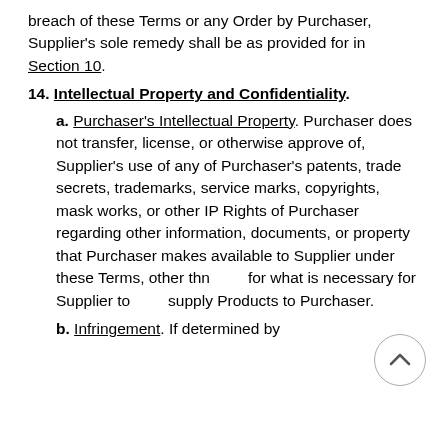breach of these Terms or any Order by Purchaser, Supplier's sole remedy shall be as provided for in Section 10.
14. Intellectual Property and Confidentiality.
a. Purchaser's Intellectual Property. Purchaser does not transfer, license, or otherwise approve of, Supplier's use of any of Purchaser's patents, trade secrets, trademarks, service marks, copyrights, mask works, or other IP Rights of Purchaser regarding other information, documents, or property that Purchaser makes available to Supplier under these Terms, other than for what is necessary for Supplier to supply Products to Purchaser.
b. Infringement. If determined by